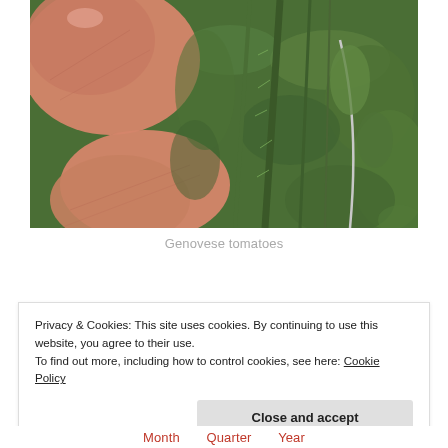[Figure (photo): Close-up photo of a hand holding green tomato plant stems and leaves; a white string/wire is visible among the green foliage]
Genovese tomatoes
Privacy & Cookies: This site uses cookies. By continuing to use this website, you agree to their use.
To find out more, including how to control cookies, see here: Cookie Policy
Close and accept
Month   Quarter   Year